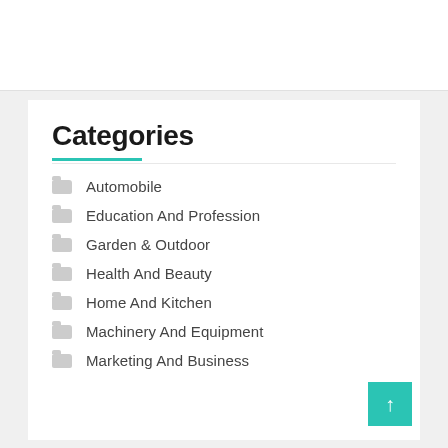Categories
Automobile
Education And Profession
Garden & Outdoor
Health And Beauty
Home And Kitchen
Machinery And Equipment
Marketing And Business